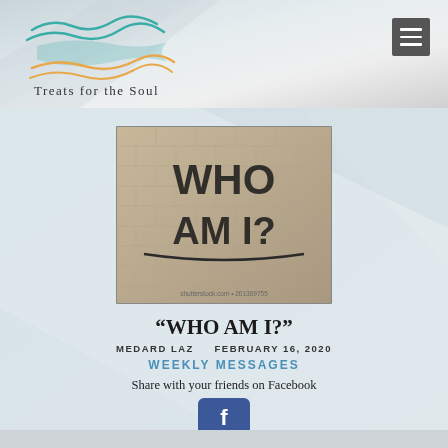[Figure (logo): Treats for the Soul website logo with wave/fish graphic in teal and orange, text reading Treats for the Soul]
[Figure (photo): Sepia-toned photo of brick wall with graffiti text WHO AM I? painted in large black letters, with shutterstock.com watermark]
“WHO AM I?”
MEDARD LAZ    FEBRUARY 16, 2020
WEEKLY MESSAGES
Share with your friends on Facebook
[Figure (other): Facebook share button (blue rounded square with Facebook icon)]